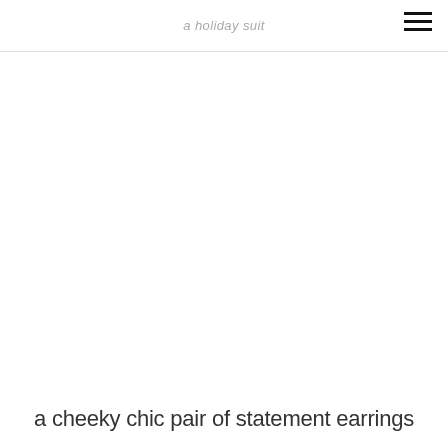a holiday suit
a cheeky chic pair of statement earrings